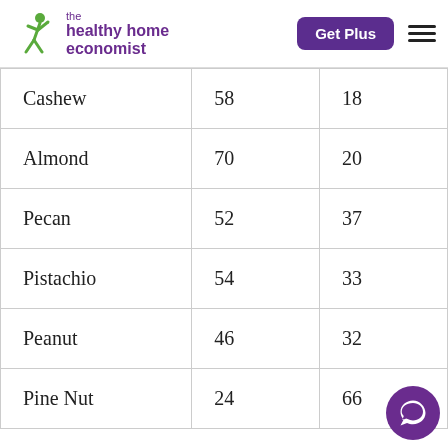the healthy home economist — Get Plus
| Cashew | 58 | 18 |
| Almond | 70 | 20 |
| Pecan | 52 | 37 |
| Pistachio | 54 | 33 |
| Peanut | 46 | 32 |
| Pine Nut | 24 | 66 |